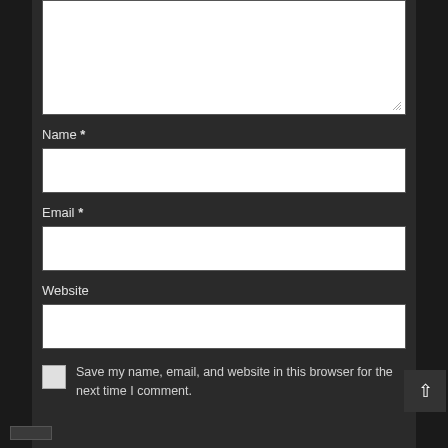[Figure (screenshot): A textarea input field (comment box) with white background and resize handle at bottom right corner, on dark background]
Name *
[Figure (screenshot): A text input field for Name with white background]
Email *
[Figure (screenshot): A text input field for Email with white background]
Website
[Figure (screenshot): A text input field for Website with white background]
Save my name, email, and website in this browser for the next time I comment.